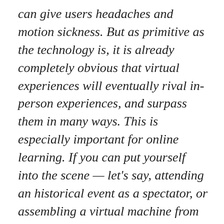can give users headaches and motion sickness. But as primitive as the technology is, it is already completely obvious that virtual experiences will eventually rival in-person experiences, and surpass them in many ways. This is especially important for online learning. If you can put yourself into the scene — let's say, attending an historical event as a spectator, or assembling a virtual machine from virtual parts — your learning experience will be extraordinary compared to anything classroom can provide.